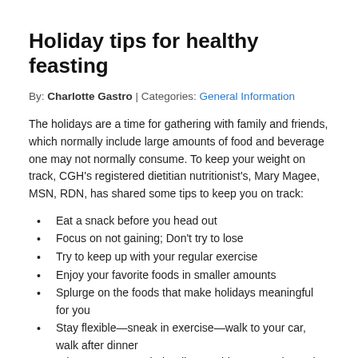Holiday tips for healthy feasting
By: Charlotte Gastro | Categories: General Information
The holidays are a time for gathering with family and friends, which normally include large amounts of food and beverage one may not normally consume. To keep your weight on track, CGH's registered dietitian nutritionist's, Mary Magee, MSN, RDN, has shared some tips to keep you on track:
Eat a snack before you head out
Focus on not gaining; Don't try to lose
Try to keep up with your regular exercise
Enjoy your favorite foods in smaller amounts
Splurge on the foods that make holidays meaningful for you
Stay flexible—sneak in exercise—walk to your car, walk after dinner
When you approach the dinner table, survey the entire table before you take any food—which are worth eating and which don't mean much to you
Eat your calories rather than drink them; choose lower